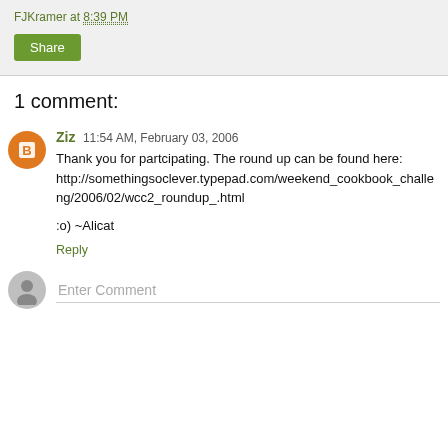FJKramer at 8:39 PM
Share
1 comment:
Ziz  11:54 AM, February 03, 2006
Thank you for partcipating. The round up can be found here: http://somethingsoclever.typepad.com/weekend_cookbook_challeng/2006/02/wcc2_roundup_.html

:o) ~Alicat
Reply
Enter Comment